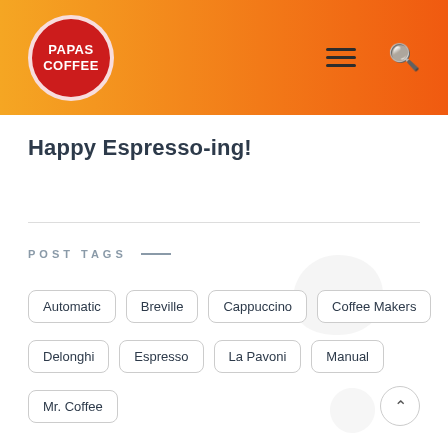[Figure (logo): Papas Coffee circular red logo with white text on orange gradient header bar]
Happy Espresso-ing!
POST TAGS
Automatic
Breville
Cappuccino
Coffee Makers
Delonghi
Espresso
La Pavoni
Manual
Mr. Coffee